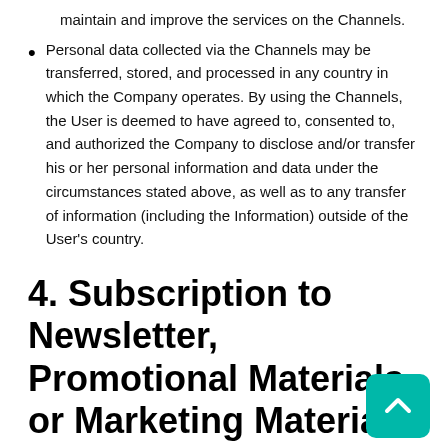maintain and improve the services on the Channels.
Personal data collected via the Channels may be transferred, stored, and processed in any country in which the Company operates. By using the Channels, the User is deemed to have agreed to, consented to, and authorized the Company to disclose and/or transfer his or her personal information and data under the circumstances stated above, as well as to any transfer of information (including the Information) outside of the User's country.
4. Subscription to Newsletter, Promotional Materials, or Marketing Materials